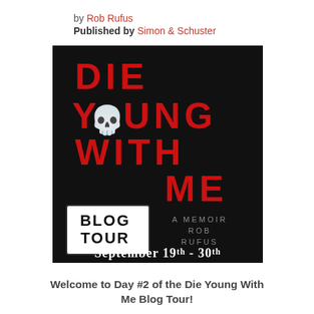by Rob Rufus
Published by Simon & Schuster
[Figure (illustration): Book cover/blog tour promotional image for 'Die Young With Me' by Rob Rufus on a black background. Large red bold text reads DIE YOUNG WITH ME with a skull icon replacing the O in YOUNG. A distressed white badge reads BLOG TOUR. Gray text reads A MEMOIR ROB RUFUS. White serif text at the bottom reads September 19th - 30th.]
Welcome to Day #2 of the Die Young With Me Blog Tour!